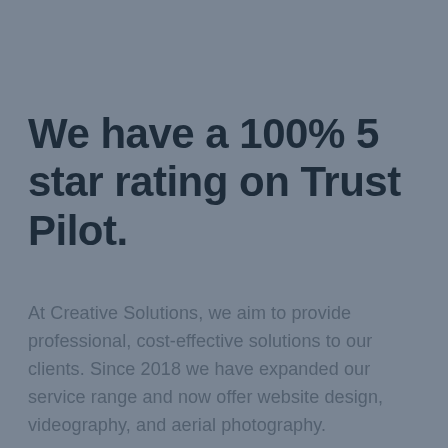We have a 100% 5 star rating on Trust Pilot.
At Creative Solutions, we aim to provide professional, cost-effective solutions to our clients. Since 2018 we have expanded our service range and now offer website design, videography, and aerial photography.